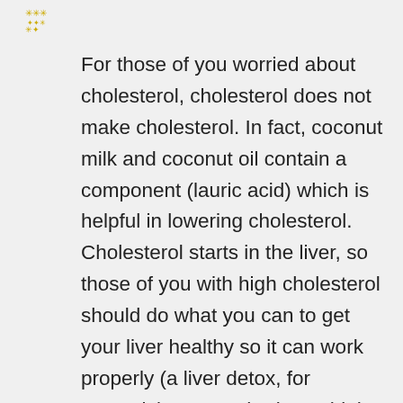[Figure (illustration): Small decorative icon with yellow asterisk/snowflake symbols arranged in a cluster]
For those of you worried about cholesterol, cholesterol does not make cholesterol. In fact, coconut milk and coconut oil contain a component (lauric acid) which is helpful in lowering cholesterol. Cholesterol starts in the liver, so those of you with high cholesterol should do what you can to get your liver healthy so it can work properly (a liver detox, for example). My MIL had very high cholesterol. She began taking an herbal supplement (Choleslo) rather than the Lipitor her doctor wanted to put her on (her